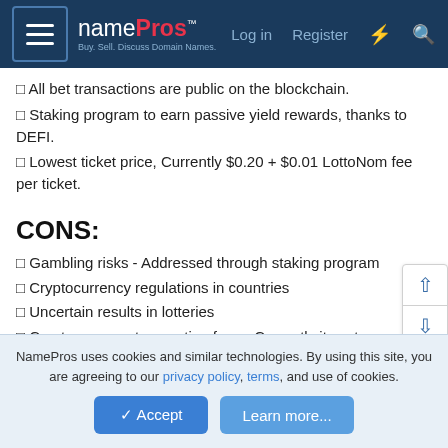namePros - Buy. Sell. Discuss Domain Names. | Log in | Register
☐ All bet transactions are public on the blockchain.
☐ Staking program to earn passive yield rewards, thanks to DEFI.
☐ Lowest ticket price, Currently $0.20 + $0.01 LottoNom fee per ticket.
CONS:
☐ Gambling risks - Addressed through staking program
☐ Cryptocurrency regulations in countries
☐ Uncertain results in lotteries
☐ Cryptocurrency transaction fees - Currently it costs less than a cent per transaction. Transaction fee sponsoring by Lottonom is coming soon.
NamePros uses cookies and similar technologies. By using this site, you are agreeing to our privacy policy, terms, and use of cookies.